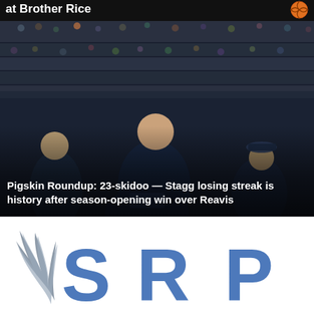at Brother Rice
[Figure (photo): Coach celebrating with players and crowd at a night football game, wearing navy blue jacket]
Pigskin Roundup: 23-skidoo — Stagg losing streak is history after season-opening win over Reavis
[Figure (logo): SRP logo with blue letters S, R, P and a grey/blue wing icon on white background]